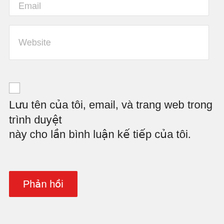Email
Website
Lưu tên của tôi, email, và trang web trong trình duyệt này cho lần bình luận kế tiếp của tôi.
Phản hồi